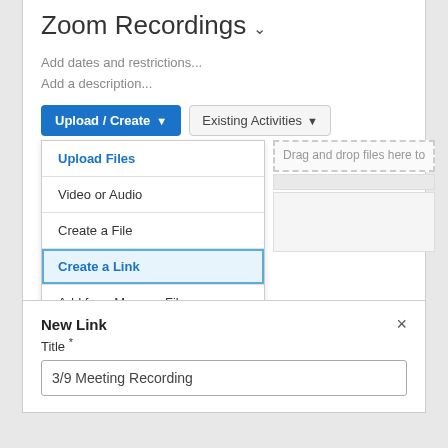Zoom Recordings
Add dates and restrictions...
Add a description...
[Figure (screenshot): Upload/Create dropdown button and Existing Activities button with dropdown menu showing: Upload Files, Video or Audio, Create a File, Create a Link (highlighted), Add from Manage Files. Drag and drop area visible on the right.]
New Link
Title *
3/9 Meeting Recording